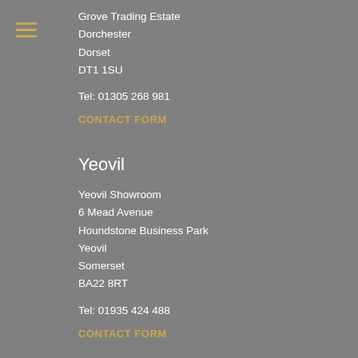[Figure (other): Hamburger menu icon (three horizontal lines in gold/amber color)]
Grove Trading Estate
Dorchester
Dorset
DT1 1SU
Tel: 01305 268 981
CONTACT FORM
Yeovil
Yeovil Showroom
6 Mead Avenue
Houndstone Business Park
Yeovil
Somerset
BA22 8RT
Tel: 01935 424 488
CONTACT FORM